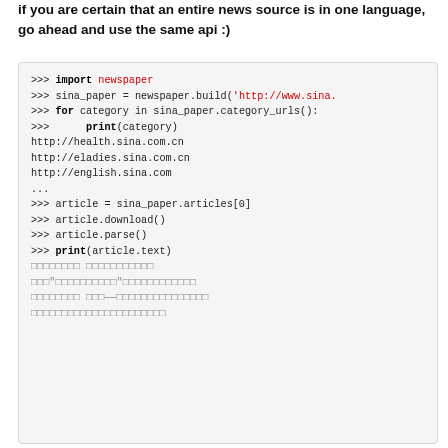if you are certain that an entire news source is in one language, go ahead and use the same api :)
[Figure (screenshot): Python interactive console code block showing newspaper library usage with sina.com example, including import, build, category_urls loop, article download/parse, and print output with Chinese text]